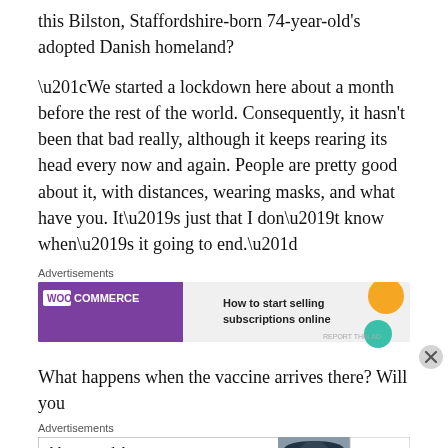this Bilston, Staffordshire-born 74-year-old's adopted Danish homeland?
“We started a lockdown here about a month before the rest of the world. Consequently, it hasn't been that bad really, although it keeps rearing its head every now and again. People are pretty good about it, with distances, wearing masks, and what have you. It’s just that I don’t know when’s it going to end.”
[Figure (screenshot): WooCommerce advertisement banner: purple background with WooCommerce logo, teal arrow, text 'How to start selling subscriptions online', orange and teal decorative circles]
What happens when the vaccine arrives there? Will you
[Figure (screenshot): Bloomingdale's advertisement banner: white background with Bloomingdale's logo, 'View Today's Top Deals!', woman with hat image, 'SHOP NOW >' button]